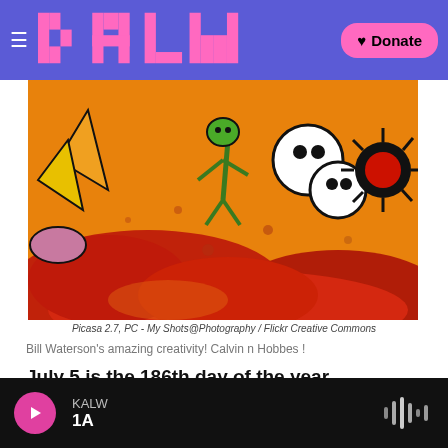KALW — Donate
[Figure (illustration): Colorful cartoon illustration reminiscent of Calvin and Hobbes: orange/red desert landscape with stylized rocks, ghostly round white creatures with black spots, a green alien-like figure, black spiky plants, against a warm orange sky. Bold comic-book style outlines.]
Picasa 2.7, PC - My Shots@Photography / Flickr Creative Commons
Bill Waterson's amazing creativity! Calvin n Hobbes !
July 5 is the 186th day of the year
179 days remain until the end of the year.
KALW / 1A